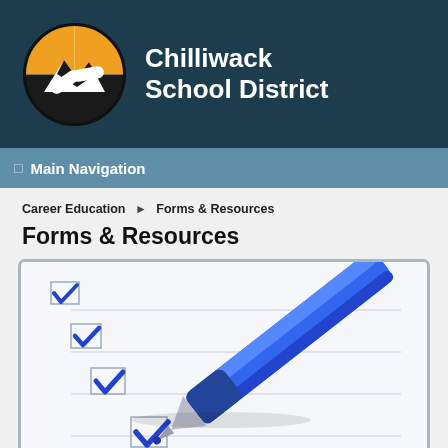Chilliwack School District
Main Navigation
Career Education ▶ Forms & Resources
Forms & Resources
[Figure (photo): A blue ballpoint pen checking checkboxes on a checklist form, showing four blue checkmarks in checkbox squares with lined paper background.]